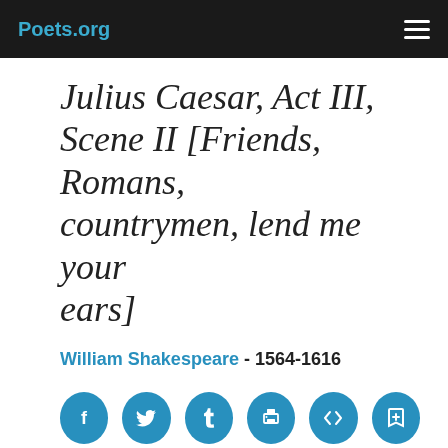Poets.org
Julius Caesar, Act III, Scene II [Friends, Romans, countrymen, lend me your ears]
William Shakespeare - 1564-1616
[Figure (infographic): Row of six circular blue social/action icon buttons: Facebook, Twitter, Tumblr, Print, Embed/Code, Save/Bookmark]
Antony speaks at Caesar's funeral
Friends, Romans, countrymen, lend me your